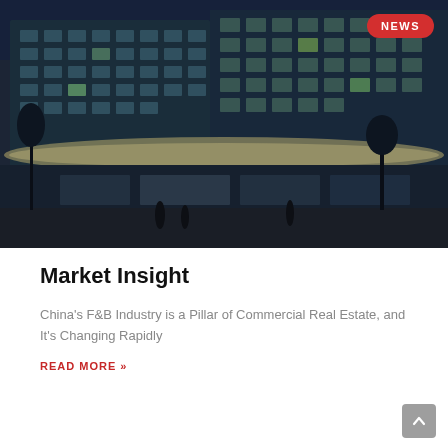[Figure (photo): Night photo of a modern glass commercial building complex lit from inside, with people walking in front, trees, and a dark blue sky in the background.]
Market Insight
China's F&B Industry is a Pillar of Commercial Real Estate, and It's Changing Rapidly
READ MORE »